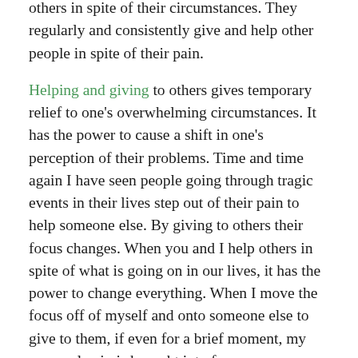others in spite of their circumstances. They regularly and consistently give and help other people in spite of their pain.
Helping and giving to others gives temporary relief to one's overwhelming circumstances. It has the power to cause a shift in one's perception of their problems. Time and time again I have seen people going through tragic events in their lives step out of their pain to help someone else. By giving to others their focus changes. When you and I help others in spite of what is going on in our lives, it has the power to change everything. When I move the focus off of myself and onto someone else to give to them, if even for a brief moment, my personal pain is brought into focus.
It seems that when you and I lose our perspective